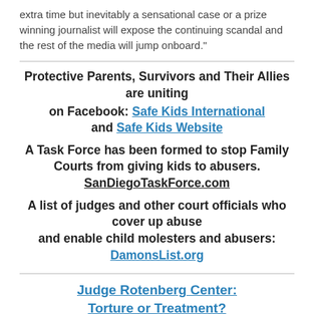extra time but inevitably a sensational case or a prize winning journalist will expose the continuing scandal and the rest of the media will jump onboard."
Protective Parents, Survivors and Their Allies are uniting
on Facebook: Safe Kids International
and Safe Kids Website

A Task Force has been formed to stop Family Courts from giving kids to abusers.
SanDiegoTaskForce.com

A list of judges and other court officials who cover up abuse
and enable child molesters and abusers:
DamonsList.org
Judge Rotenberg Center:
Torture or Treatment?